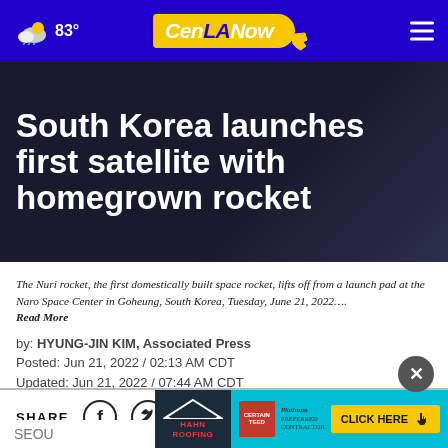83° CenLANow
South Korea launches first satellite with homegrown rocket
The Nuri rocket, the first domestically built space rocket, lifts off from a launch pad at the Naro Space Center in Goheung, South Korea, Tuesday, June 21, 2022….
Read More
by: HYUNG-JIN KIM, Associated Press
Posted: Jun 21, 2022 / 02:13 AM CDT
Updated: Jun 21, 2022 / 07:44 AM CDT
SHARE
[Figure (screenshot): Advertisement banner: Hahn Roofing and Click Here button]
SEOU...ited